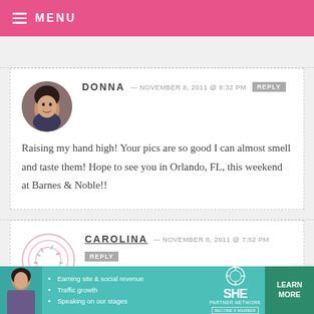MENU
DONNA — NOVEMBER 8, 2011 @ 8:32 PM REPLY
Raising my hand high! Your pics are so good I can almost smell and taste them! Hope to see you in Orlando, FL, this weekend at Barnes & Noble!!
CAROLINA — NOVEMBER 8, 2011 @ 7:52 PM REPLY
[Figure (infographic): SHE Partner Network advertisement banner with person photo, bullet points about earning site & social revenue, traffic growth, speaking on our stages, logo, and Learn More button]